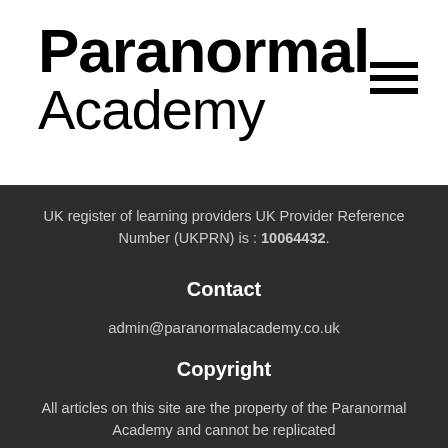Paranormal Academy
UK register of learning providers UK Provider Reference Number (UKPRN) is : 10064432.
Contact
admin@paranormalacademy.co.uk
Copyright
All articles on this site are the property of the Paranormal Academy and cannot be replicated